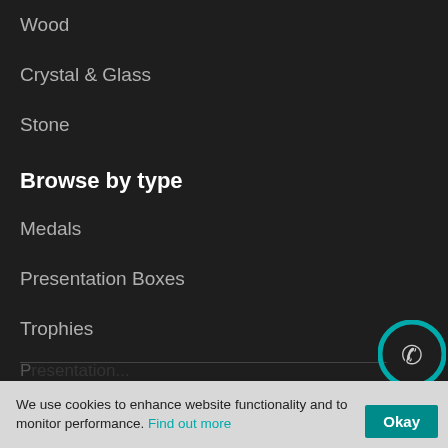Wood
Crystal & Glass
Stone
Browse by type
Medals
Presentation Boxes
Trophies
General
Home
We use cookies to enhance website functionality and to monitor performance. Find out more
Okay